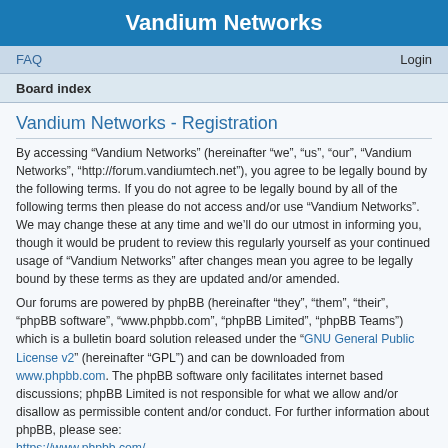Vandium Networks
FAQ   Login
Board index
Vandium Networks - Registration
By accessing “Vandium Networks” (hereinafter “we”, “us”, “our”, “Vandium Networks”, “http://forum.vandiumtech.net”), you agree to be legally bound by the following terms. If you do not agree to be legally bound by all of the following terms then please do not access and/or use “Vandium Networks”. We may change these at any time and we’ll do our utmost in informing you, though it would be prudent to review this regularly yourself as your continued usage of “Vandium Networks” after changes mean you agree to be legally bound by these terms as they are updated and/or amended.
Our forums are powered by phpBB (hereinafter “they”, “them”, “their”, “phpBB software”, “www.phpbb.com”, “phpBB Limited”, “phpBB Teams”) which is a bulletin board solution released under the “GNU General Public License v2” (hereinafter “GPL”) and can be downloaded from www.phpbb.com. The phpBB software only facilitates internet based discussions; phpBB Limited is not responsible for what we allow and/or disallow as permissible content and/or conduct. For further information about phpBB, please see: https://www.phpbb.com/.